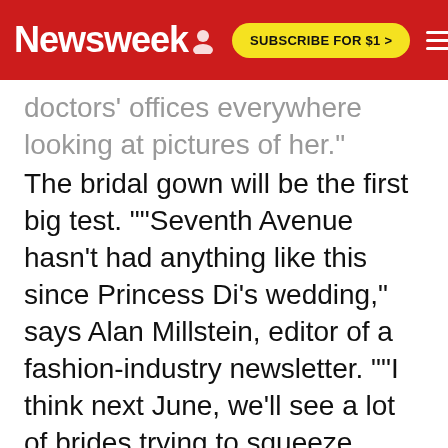Newsweek | SUBSCRIBE FOR $1 >
doctors' offices everywhere looking at pictures of her." The bridal gown will be the first big test. ""Seventh Avenue hasn't had anything like this since Princess Di's wedding," says Alan Millstein, editor of a fashion-industry newsletter. ""I think next June, we'll see a lot of brides trying to squeeze themselves into JCPenney versions of the dress."